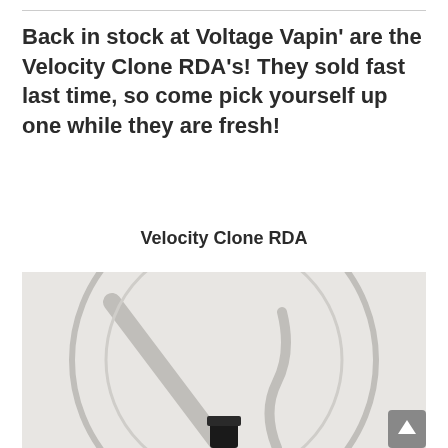Back in stock at Voltage Vapin' are the Velocity Clone RDA's! They sold fast last time, so come pick yourself up one while they are fresh!
Velocity Clone RDA
[Figure (photo): Photo of the Velocity Clone RDA product, showing a vaping atomizer on a light gray background with a circular logo/design behind it. A small scroll-to-top button is visible in the bottom-right corner.]